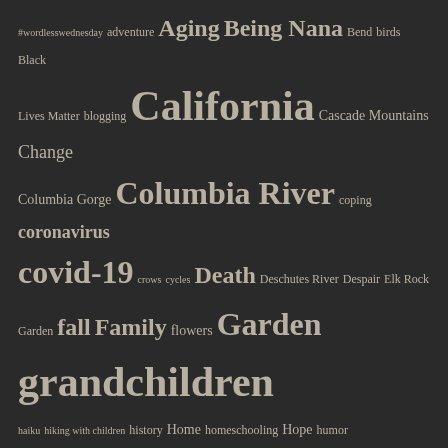[Figure (other): Tag cloud / word cloud on dark background showing blog tags with varying font sizes indicating frequency. Tags include: #wordlesswednesday, adventure, Aging, Being Nana, Bend, birds, Black Lives Matter, blogging, California, Cascade Mountains, Change, Columbia Gorge, Columbia River, coping, coronavirus, covid-19, crows, cycles, Death, Deschutes River, Despair, Elk Rock, Garden, fall, Family, flowers, Garden, grandchildren, haiku, hiking with children, history, Home, homeschooling, Hope, humor, Mary Oliver, Memories, Metamorphosis, moving, Natalie Goldberg, Nature, neighborhood walk, New City, new life, Oregon, Oregon Coast, Pacific Northwest, Pandemic, pandemic travel, Politics, Portland, Quarantine, Retirement, Ridgefield National Wildlife Refuge, River hike, Rivers, road trip, Santa Barbara, scrub jays, seasons, snow, Spring, Summer, Travel, trees, urban hikes, Vista House, Washington, Washington state, waterfalls, weather, wildflowers, wildlife]